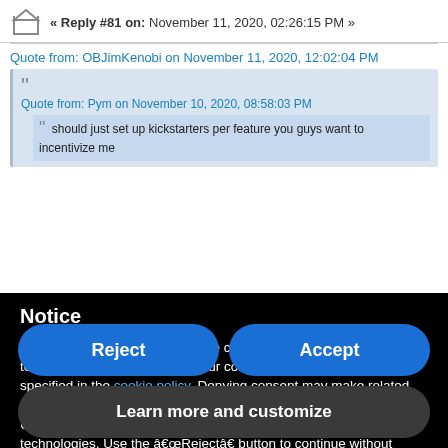« Reply #81 on: November 11, 2020, 02:26:15 PM »
Quote from: OBJimKenobi on November 11, 2020, 12:02:04 PM
Quote from: Pym on November 10, 2020, 08:58:03 PM
should just set up kickstarters per feature you guys want to incentivize me
Notice
We and selected third parties use cookies or similar technologies for technical purposes and, with your consent, for other purposes as specified in the cookie policy. Denying consent may make related features unavailable.
Use the â€œAcceptâ€ button to consent to the use of such technologies. Use the â€œRejectâ€ button to continue without accepting.
Reject
Accept
Learn more and customize